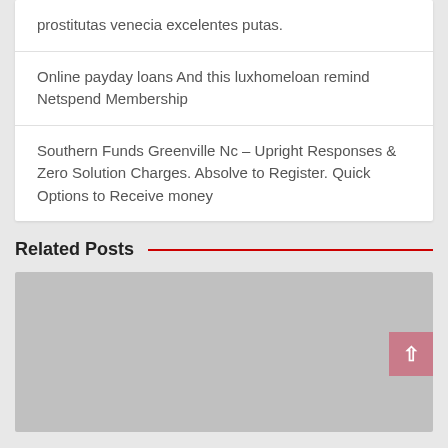prostitutas venecia excelentes putas.
Online payday loans And this luxhomeloan remind Netspend Membership
Southern Funds Greenville Nc – Upright Responses & Zero Solution Charges. Absolve to Register. Quick Options to Receive money
Related Posts
[Figure (photo): Gray placeholder image for a related post thumbnail, with a pink/mauve scroll-to-top button overlay in the bottom-right area]